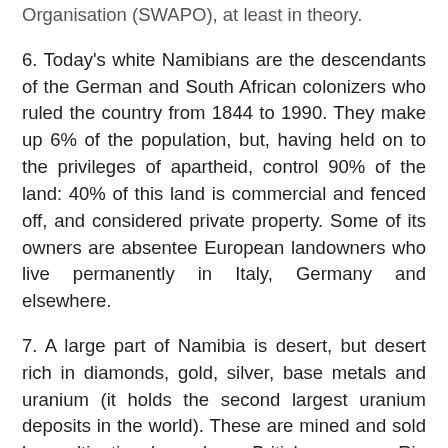Organisation (SWAPO), at least in theory.
6. Today's white Namibians are the descendants of the German and South African colonizers who ruled the country from 1844 to 1990. They make up 6% of the population, but, having held on to the privileges of apartheid, control 90% of the land: 40% of this land is commercial and fenced off, and considered private property. Some of its owners are absentee European landowners who live permanently in Italy, Germany and elsewhere.
7. A large part of Namibia is desert, but desert rich in diamonds, gold, silver, base metals and uranium (it holds the second largest uranium deposits in the world). These are mined and sold by multinationals such as British company Rio Tinto. Some diamond cutting is done in Windhoek, but most is exported raw by the multinationals who mine them. Colonial